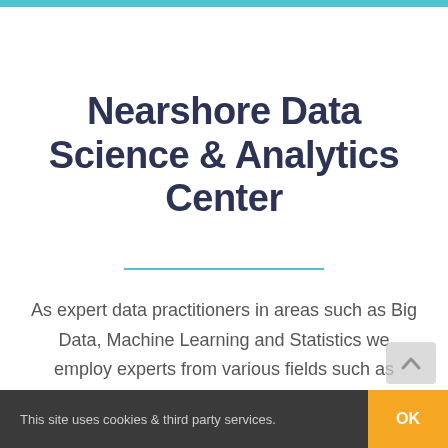Nearshore Data Science & Analytics Center
As expert data practitioners in areas such as Big Data, Machine Learning and Statistics we employ experts from various fields such as theoretical
This site uses cookies & third party services.  OK